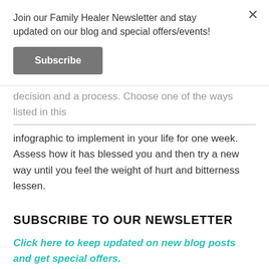Join our Family Healer Newsletter and stay updated on our blog and special offers/events!
Subscribe
decision and a process. Choose one of the ways listed in this infographic to implement in your life for one week. Assess how it has blessed you and then try a new way until you feel the weight of hurt and bitterness lessen.
SUBSCRIBE TO OUR NEWSLETTER
Click here to keep updated on new blog posts and get special offers.